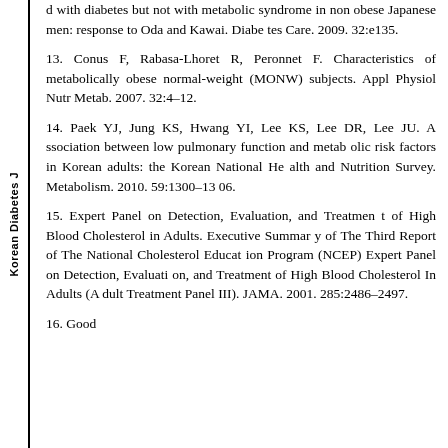Korean Diabetes J
d with diabetes but not with metabolic syndrome in non obese Japanese men: response to Oda and Kawai. Diabetes Care. 2009. 32:e135.
13. Conus F, Rabasa-Lhoret R, Peronnet F. Characteristics of metabolically obese normal-weight (MONW) subjects. Appl Physiol Nutr Metab. 2007. 32:4–12.
14. Paek YJ, Jung KS, Hwang YI, Lee KS, Lee DR, Lee JU. Association between low pulmonary function and metabolic risk factors in Korean adults: the Korean National Health and Nutrition Survey. Metabolism. 2010. 59:1300–1306.
15. Expert Panel on Detection, Evaluation, and Treatment of High Blood Cholesterol in Adults. Executive Summary of The Third Report of The National Cholesterol Education Program (NCEP) Expert Panel on Detection, Evaluation, and Treatment of High Blood Cholesterol In Adults (Adult Treatment Panel III). JAMA. 2001. 285:2486–2497.
16. Goodall SM, Shemwell DB, Parish SR, Dorota KA, Erd...